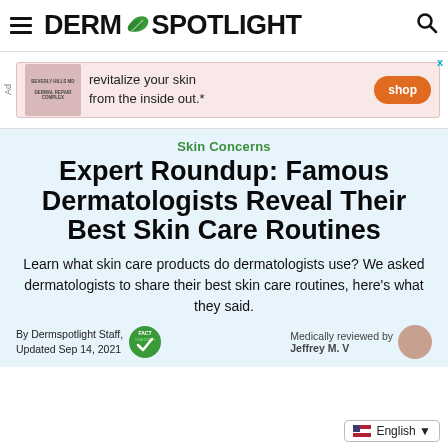DERM SPOTLIGHT
[Figure (infographic): Advertisement banner: Beverly Hills MD product, text 'revitalize your skin from the inside out.*' with orange 'shop' button]
Skin Concerns
Expert Roundup: Famous Dermatologists Reveal Their Best Skin Care Routines
Learn what skin care products do dermatologists use? We asked dermatologists to share their best skin care routines, here's what they said.
By Dermspotlight Staff, Updated Sep 14, 2021
Medically reviewed by Jeffrey M. V